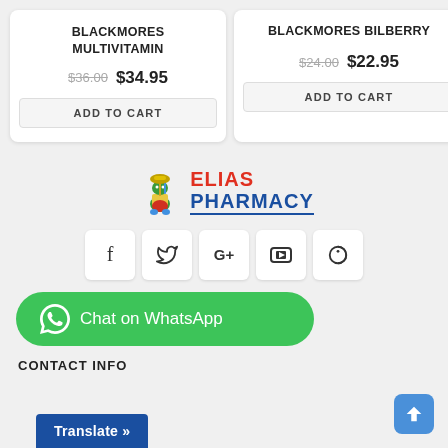BLACKMORES MULTIVITAMIN
$36.00 $34.95
ADD TO CART
BLACKMORES BILBERRY
$24.00 $22.95
ADD TO CART
[Figure (logo): Elias Pharmacy logo with mascot character, ELIAS in red and PHARMACY in blue text]
[Figure (infographic): Social media icons: Facebook (f), Twitter (bird), Google+, YouTube, Pinterest]
Chat on WhatsApp
CONTACT INFO
Translate »